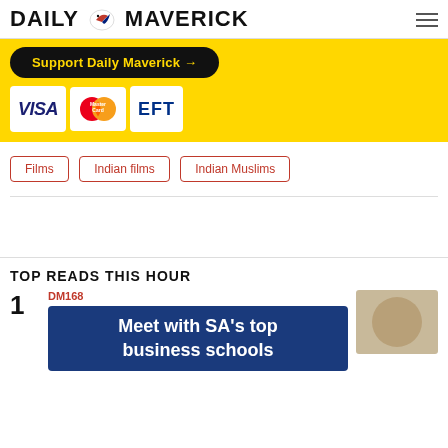DAILY MAVERICK
[Figure (infographic): Yellow banner advertisement for Daily Maverick showing 'Support Daily Maverick →' button with VISA, MasterCard, and EFT payment logos]
Films
Indian films
Indian Muslims
TOP READS THIS HOUR
1
DM168
[Figure (infographic): Blue banner advertisement showing 'Meet with SA's top business schools']